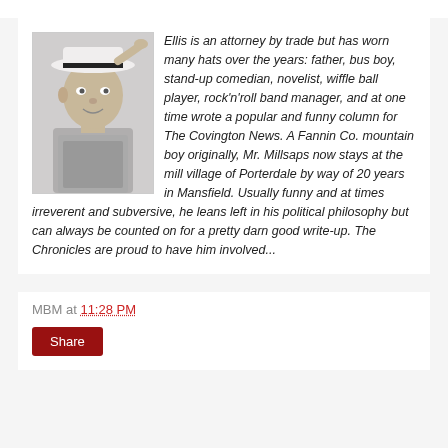[Figure (photo): Black and white photo of an older man holding a hat, smiling]
Ellis is an attorney by trade but has worn many hats over the years: father, bus boy, stand-up comedian, novelist, wiffle ball player, rock'n'roll band manager, and at one time wrote a popular and funny column for The Covington News. A Fannin Co. mountain boy originally, Mr. Millsaps now stays at the mill village of Porterdale by way of 20 years in Mansfield. Usually funny and at times irreverent and subversive, he leans left in his political philosophy but can always be counted on for a pretty darn good write-up. The Chronicles are proud to have him involved...
MBM at 11:28 PM
Share